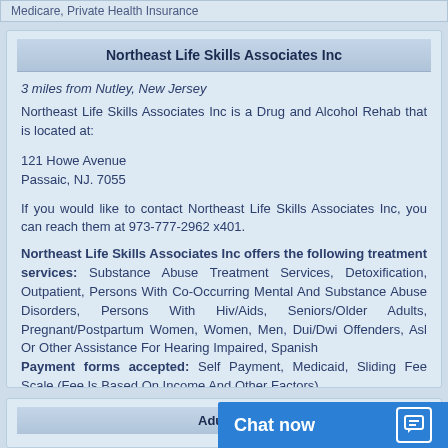Medicare, Private Health Insurance
Northeast Life Skills Associates Inc
3 miles from Nutley, New Jersey
Northeast Life Skills Associates Inc is a Drug and Alcohol Rehab that is located at:
121 Howe Avenue
Passaic, NJ. 7055
If you would like to contact Northeast Life Skills Associates Inc, you can reach them at 973-777-2962 x401.
Northeast Life Skills Associates Inc offers the following treatment services: Substance Abuse Treatment Services, Detoxification, Outpatient, Persons With Co-Occurring Mental And Substance Abuse Disorders, Persons With Hiv/Aids, Seniors/Older Adults, Pregnant/Postpartum Women, Women, Men, Dui/Dwi Offenders, Asl Or Other Assistance For Hearing Impaired, Spanish
Payment forms accepted: Self Payment, Medicaid, Sliding Fee Scale (Fee Is Based On Income And Other Factors)
Adult Fa...
Chat now